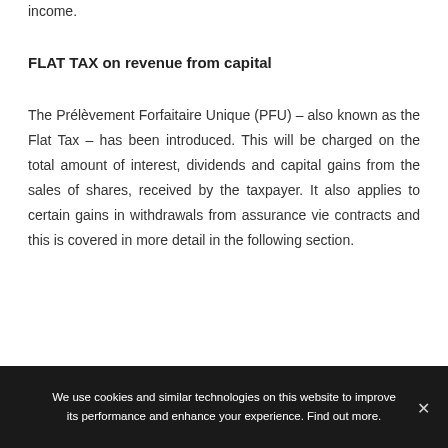charged at a rate of 6.9% will be applied on pension income.
FLAT TAX on revenue from capital
The Prélèvement Forfaitaire Unique (PFU) – also known as the Flat Tax – has been introduced. This will be charged on the total amount of interest, dividends and capital gains from the sales of shares, received by the taxpayer. It also applies to certain gains in withdrawals from assurance vie contracts and this is covered in more detail in the following section.
We use cookies and similar technologies on this website to improve its performance and enhance your experience. Find out more.